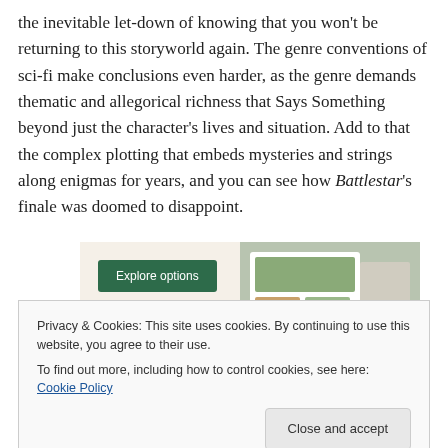the inevitable let-down of knowing that you won't be returning to this storyworld again. The genre conventions of sci-fi make conclusions even harder, as the genre demands thematic and allegorical richness that Says Something beyond just the character's lives and situation. Add to that the complex plotting that embeds mysteries and strings along enigmas for years, and you can see how Battlestar's finale was doomed to disappoint.
[Figure (other): Advertisement banner with a teal 'Explore options' button on a cream background and food imagery on the right side.]
Privacy & Cookies: This site uses cookies. By continuing to use this website, you agree to their use.
To find out more, including how to control cookies, see here: Cookie Policy
Close and accept